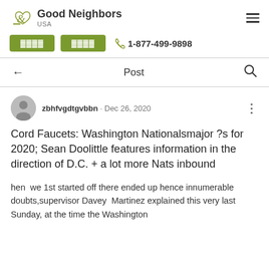Good Neighbors USA | 1-877-499-9898
Post
zbhfvgdtgvbbn · Dec 26, 2020
Cord Faucets: Washington Nationalsmajor ?s for 2020; Sean Doolittle features information in the direction of D.C. + a lot more Nats inbound
hen  we 1st started off there ended up hence innumerable doubts,supervisor Davey  Martinez explained this very last Sunday, at the time the Washington